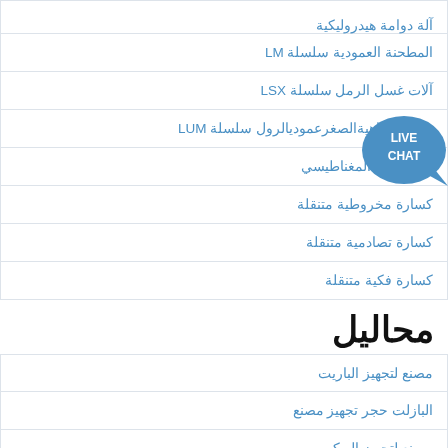آلة دوامة هيدروليكية
المطحنة العمودية سلسلة LM
آلات غسل الرمل سلسلة LSX
مضخةمتناهيةالصغرعموديالرول سلسلة LUM
آلة الفصل المغناطيسي
كسارة مخروطية متنقلة
كسارة تصادمية متنقلة
كسارة فكية متنقلة
محاليل
مصنع لتجهيز الباريت
البازلت حجر تجهيز مصنع
مصنع لتجهيز البوكسيت
التعدين الكالسيت ومصنع لتجهيز
طحن الكربون